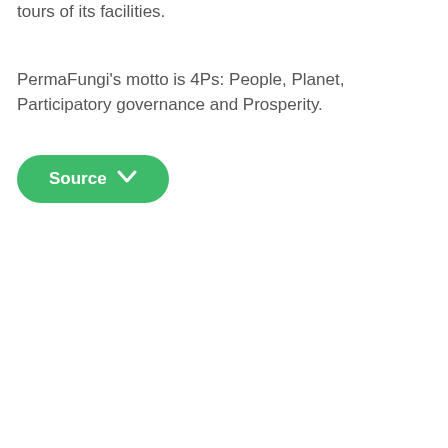tours of its facilities.
PermaFungi's motto is 4Ps: People, Planet, Participatory governance and Prosperity.
[Figure (other): A green rounded button labeled 'Source' with a downward chevron arrow icon]